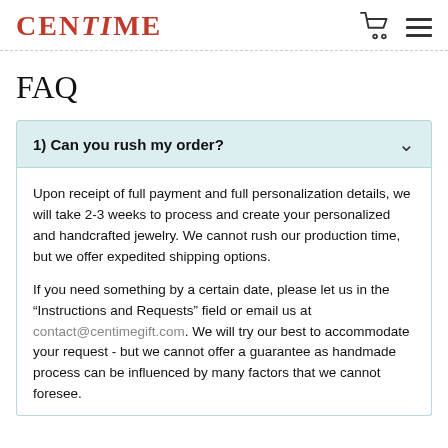CENTiME
FAQ
1) Can you rush my order?
Upon receipt of full payment and full personalization details, we will take 2-3 weeks to process and create your personalized and handcrafted jewelry. We cannot rush our production time, but we offer expedited shipping options.
If you need something by a certain date, please let us in the “Instructions and Requests” field or email us at contact@centimegift.com. We will try our best to accommodate your request - but we cannot offer a guarantee as handmade process can be influenced by many factors that we cannot foresee.